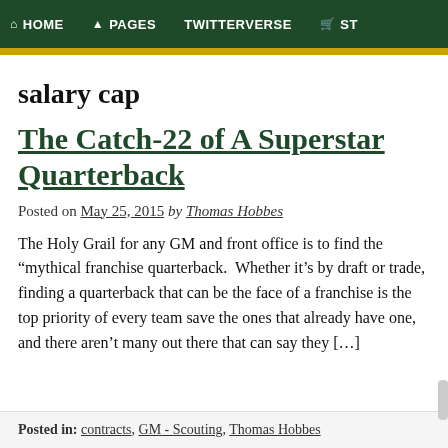HOME  PAGES  TWITTERVERSE  ST
salary cap
The Catch-22 of A Superstar Quarterback
Posted on May 25, 2015 by Thomas Hobbes
The Holy Grail for any GM and front office is to find the “mythical franchise quarterback.  Whether it’s by draft or trade, finding a quarterback that can be the face of a franchise is the top priority of every team save the ones that already have one, and there aren’t many out there that can say they […]
Posted in: contracts, GM - Scouting, Thomas Hobbes